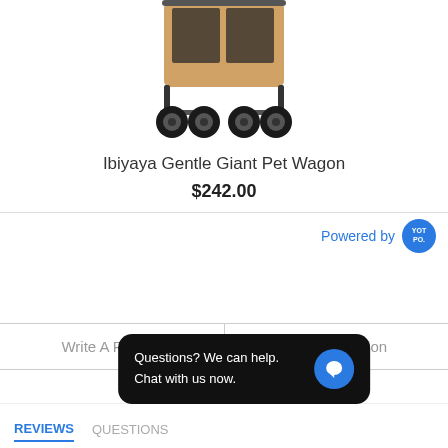[Figure (photo): Partial view of a brown/tan pet wagon stroller with black wheels and metal frame, cropped at top]
Ibiyaya Gentle Giant Pet Wagon
$242.00
[Figure (logo): Yotpo logo badge - blue circle with YOT PO text]
Powered by
Write A Review
Ask A Question
Questions? We can help.
Chat with us now.
REVIEWS
QUESTIONS